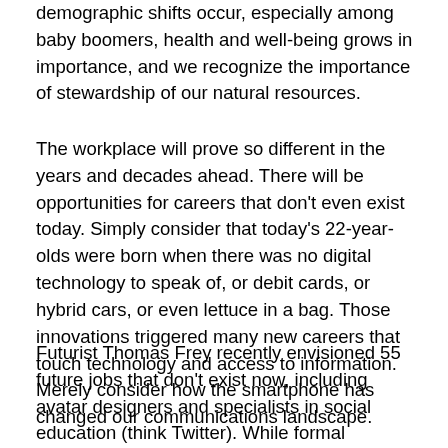demographic shifts occur, especially among baby boomers, health and well-being grows in importance, and we recognize the importance of stewardship of our natural resources.
The workplace will prove so different in the years and decades ahead. There will be opportunities for careers that don't even exist today. Simply consider that today's 22-year-olds were born when there was no digital technology to speak of, or debit cards, or hybrid cars, or even lettuce in a bag. Those innovations triggered many new careers that touch technology and access to information. Merely consider how the smartphone has changed our communications landscape.
Futurist Thomas Frey recently envisioned 55 future jobs that don't exist now, including avatar designers and specialists in social education (think Twitter). While formal education today, perhaps, can't completely train people for such jobs, continuous learning can help introduce these